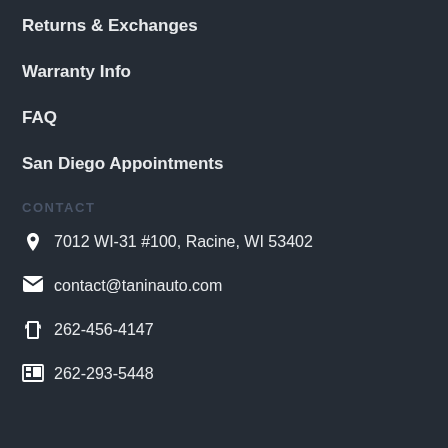Returns & Exchanges
Warranty Info
FAQ
San Diego Appointments
CONTACT
📍 7012 WI-31 #100, Racine, WI 53402
✉ contact@taninauto.com
📞 262-456-4147
🖷 262-293-5448